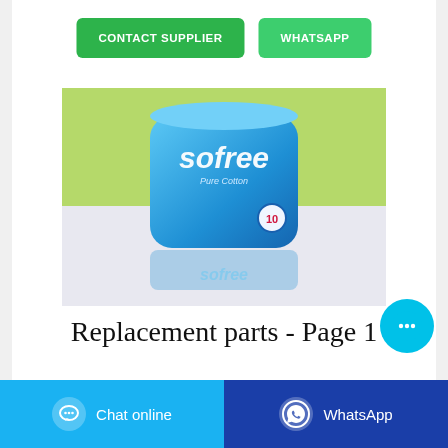CONTACT SUPPLIER
WHATSAPP
[Figure (photo): Sofree Pure Cotton sanitary pad package (blue packaging, count of 10), shown on a reflective surface with green background]
Replacement parts - Page 1
Chat online
WhatsApp